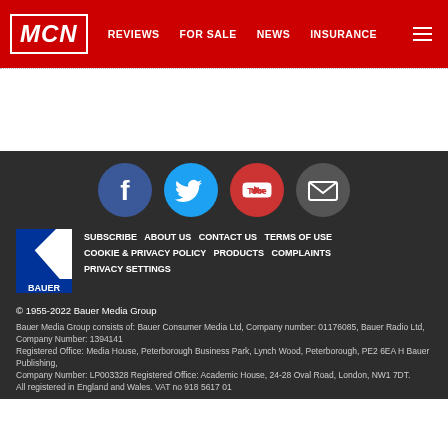MCN | REVIEWS | FOR SALE | NEWS | INSURANCE
[Figure (illustration): Social media icons: Facebook (blue circle), Twitter (light blue circle), YouTube (red circle), Email/envelope (dark grey circle)]
[Figure (logo): Bauer logo: white triangle on blue background with BAUER text]
SUBSCRIBE   ABOUT US   CONTACT US   TERMS OF USE   COOKIE & PRIVACY POLICY   PRODUCTS   COMPLAINTS   PRIVACY SETTINGS
© 1955-2022 Bauer Media Group
Bauer Media Group consists of: Bauer Consumer Media Ltd, Company number: 01176085, Bauer Radio Ltd, Company Number: 1394141 Registered Office: Media House, Peterborough Business Park, Lynch Wood, Peterborough, PE2 6EA H Bauer Publishing, Company Number: LP003328 Registered Office: Academic House, 24-28 Oval Road, London, NW1 7DT. All registered in England and Wales. VAT no 918 5617 01